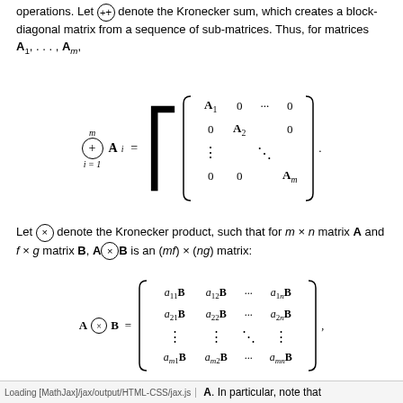In what follows, we will use the following symbols for matrix operations. Let ⊕ denote the Kronecker sum, which creates a block-diagonal matrix from a sequence of sub-matrices. Thus, for matrices A₁, …, Aₘ,
Let ⊗ denote the Kronecker product, such that for m × n matrix A and f × g matrix B, A⊗B is an (mf) × (ng) matrix:
Loading [MathJax]/jax/output/HTML-CSS/jax.js   A. In particular, note that